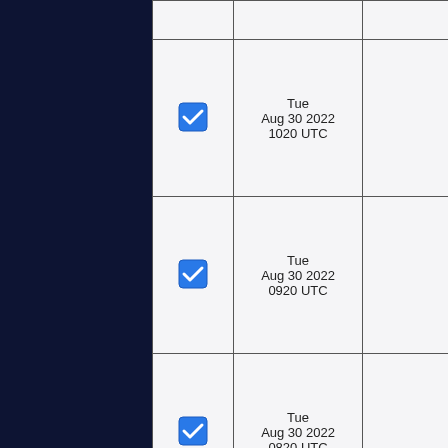| checkbox | datetime | extra |
| --- | --- | --- |
| [checked] | Tue
Aug 30 2022
1020 UTC |  |
| [checked] | Tue
Aug 30 2022
0920 UTC |  |
| [checked] | Tue
Aug 30 2022
0820 UTC |  |
|  |  |  |